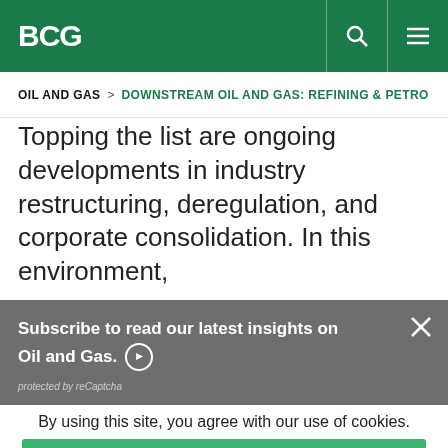BCG
OIL AND GAS > DOWNSTREAM OIL AND GAS: REFINING & PETRO...
Topping the list are ongoing developments in industry restructuring, deregulation, and corporate consolidation. In this environment,
Subscribe to read our latest insights on Oil and Gas.
protected by reCaptcha
By using this site, you agree with our use of cookies.
I consent to cookies
Want to know more?
Read our Cookie Policy